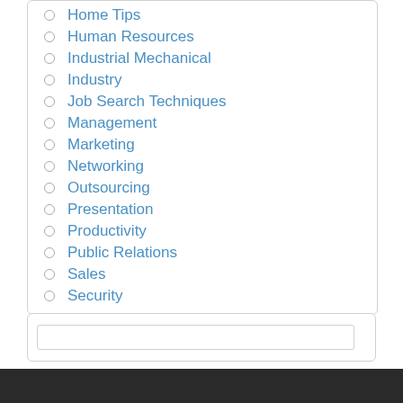Home Tips
Human Resources
Industrial Mechanical
Industry
Job Search Techniques
Management
Marketing
Networking
Outsourcing
Presentation
Productivity
Public Relations
Sales
Security